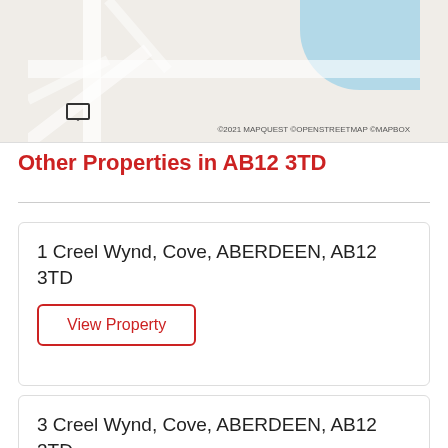[Figure (map): Partial map view showing roads and coastline/water area. MapQuest/OpenStreetMap/Mapbox map attribution shown at bottom right. A map pin/camera icon is visible at left.]
Other Properties in AB12 3TD
1 Creel Wynd, Cove, ABERDEEN, AB12 3TD
View Property
3 Creel Wynd, Cove, ABERDEEN, AB12 3TD